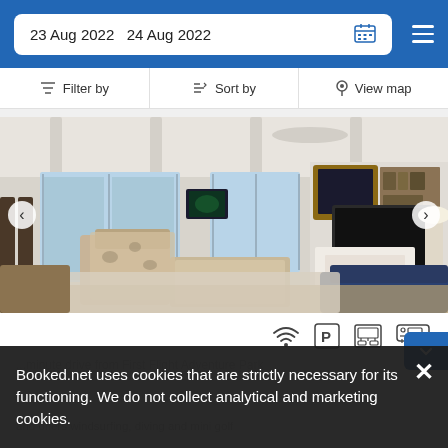23 Aug 2022  24 Aug 2022
Filter by   Sort by   View map
[Figure (photo): Interior photo of a beach rental property living room with vaulted ceiling, large sliding glass doors, patterned furniture, a fireplace, and a large wall-mounted TV with built-in shelving.]
[Figure (infographic): Row of amenity icons: WiFi, Parking, Oven/stove, Air conditioning]
Booked.net uses cookies that are strictly necessary for its functioning. We do not collect analytical and marketing cookies.
...minute drive from First Flight Adventure Park and offers windsurfing, diving and mini golf...